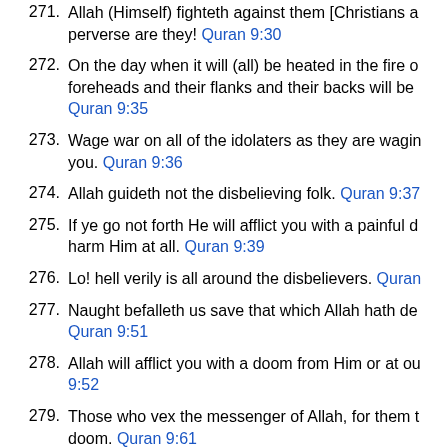271. Allah (Himself) fighteth against them [Christians a... perverse are they! Quran 9:30
272. On the day when it will (all) be heated in the fire o... foreheads and their flanks and their backs will be... Quran 9:35
273. Wage war on all of the idolaters as they are wagin... you. Quran 9:36
274. Allah guideth not the disbelieving folk. Quran 9:37
275. If ye go not forth He will afflict you with a painful d... harm Him at all. Quran 9:39
276. Lo! hell verily is all around the disbelievers. Quran...
277. Naught befalleth us save that which Allah hath de... Quran 9:51
278. Allah will afflict you with a doom from Him or at ou... 9:52
279. Those who vex the messenger of Allah, for them t... doom. Quran 9:61
280. Whoso opposeth Allah and His messenger, his ve... abide therein. Quran 9:63